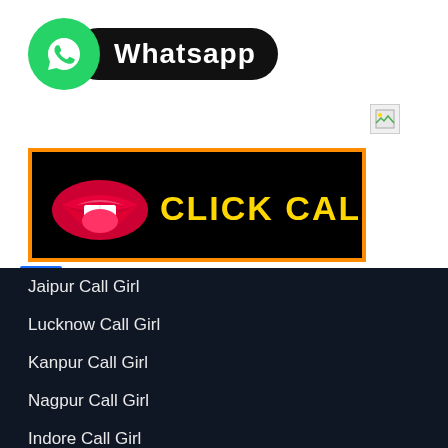[Figure (logo): WhatsApp logo badge with green circle icon and black pill-shaped label saying Whatsapp]
[Figure (illustration): Click Call banner with red lips and yellow bold text CLICK CALL on black background with orange border]
Jaipur Call Girl
Lucknow Call Girl
Kanpur Call Girl
Nagpur Call Girl
Indore Call Girl
Thane Call Girl